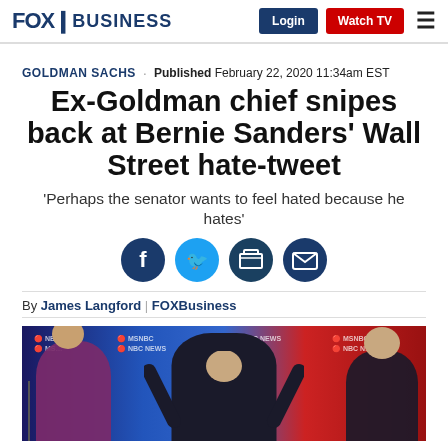FOX BUSINESS | Login | Watch TV
GOLDMAN SACHS · Published February 22, 2020 11:34am EST
Ex-Goldman chief snipes back at Bernie Sanders' Wall Street hate-tweet
'Perhaps the senator wants to feel hated because he hates'
[Figure (other): Social sharing icons: Facebook, Twitter, Print, Email]
By James Langford | FOXBusiness
[Figure (photo): Photo of political debate stage showing candidates including Bernie Sanders gesturing with both hands raised, Elizabeth Warren on the left, and Joe Biden on the right, with MSNBC and NBC News logos in background]